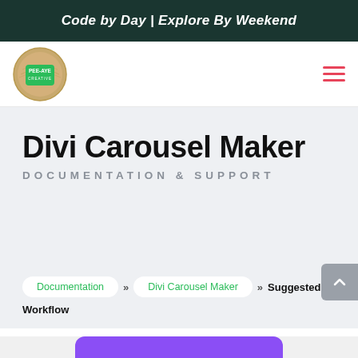Code by Day | Explore By Weekend
[Figure (logo): Pee-Aye Creative circular logo with wood texture background and green center badge]
Divi Carousel Maker
DOCUMENTATION & SUPPORT
Documentation » Divi Carousel Maker » Suggested Workflow